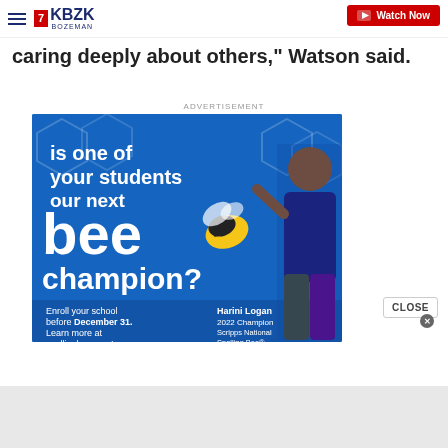KBZK BOZEMAN | Watch Now
caring deeply about others," Watson said.
ADVERTISEMENT
[Figure (photo): Scripps National Spelling Bee advertisement featuring Harini Logan, 2022 Champion. Blue background with text: 'is one of your students our next bee champion? Enroll your school before December 31. Learn more at spellingbee.com! Harini Logan 2022 Champion Scripps National Spelling Bee']